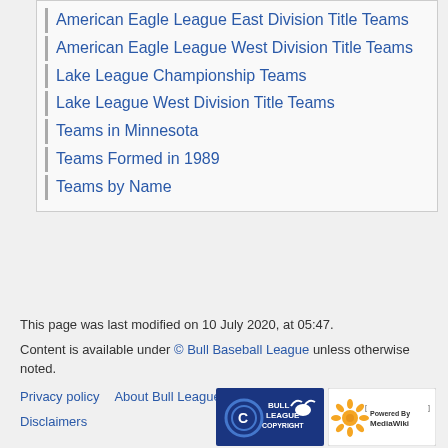American Eagle League East Division Title Teams
American Eagle League West Division Title Teams
Lake League Championship Teams
Lake League West Division Title Teams
Teams in Minnesota
Teams Formed in 1989
Teams by Name
This page was last modified on 10 July 2020, at 05:47.

Content is available under © Bull Baseball League unless otherwise noted.

Privacy policy   About Bull League Wiki

Disclaimers